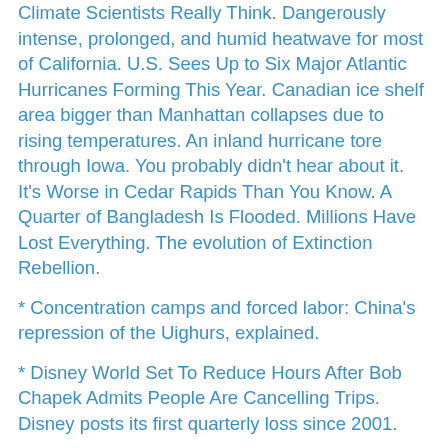Climate Scientists Really Think. Dangerously intense, prolonged, and humid heatwave for most of California. U.S. Sees Up to Six Major Atlantic Hurricanes Forming This Year. Canadian ice shelf area bigger than Manhattan collapses due to rising temperatures. An inland hurricane tore through Iowa. You probably didn't hear about it. It's Worse in Cedar Rapids Than You Know. A Quarter of Bangladesh Is Flooded. Millions Have Lost Everything. The evolution of Extinction Rebellion.
* Concentration camps and forced labor: China's repression of the Uighurs, explained.
* Disney World Set To Reduce Hours After Bob Chapek Admits People Are Cancelling Trips. Disney posts its first quarterly loss since 2001.
* Avatar-mania has hit my house hard, so this comes just